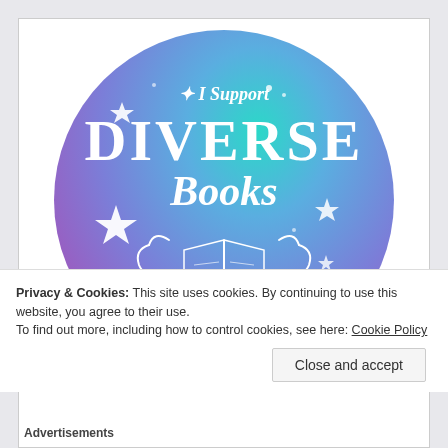[Figure (illustration): A circular badge with teal-to-purple gradient watercolor background featuring white text 'I Support DIVERSE Books' with an open book illustration, stars, and '10 POINTS' at the bottom.]
Privacy & Cookies: This site uses cookies. By continuing to use this website, you agree to their use.
To find out more, including how to control cookies, see here: Cookie Policy
Close and accept
Advertisements